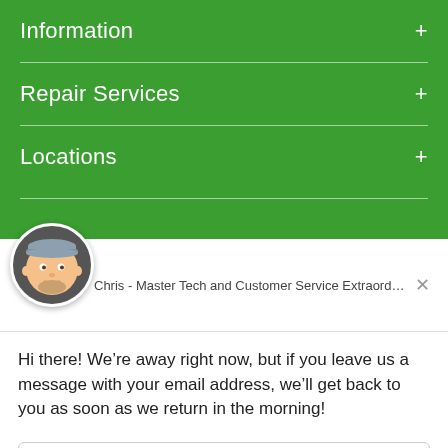Information +
Repair Services +
Locations +
[Figure (illustration): Cartoon avatar of a man wearing a grey cap, representing Chris the Master Tech]
Chris - Master Tech and Customer Service Extraordinaire fro...
Hi there! We’re away right now, but if you leave us a message with your email address, we’ll get back to you as soon as we return in the morning!
Reply to Chris - Master Tech and Customer Service Extraordina